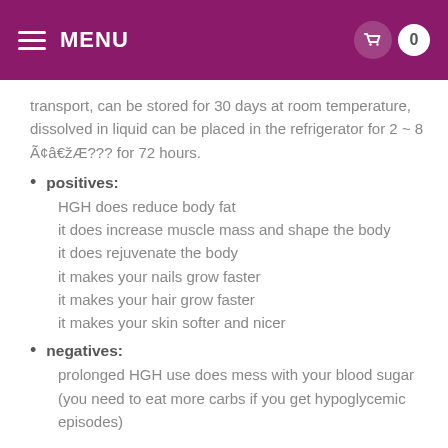MENU
transport, can be stored for 30 days at room temperature, dissolved in liquid can be placed in the refrigerator for 2 ~ 8 Ã¢â€žÆ??? for 72 hours.
positives:
HGH does reduce body fat
it does increase muscle mass and shape the body
it does rejuvenate the body
it makes your nails grow faster
it makes your hair grow faster
it makes your skin softer and nicer
negatives:
prolonged HGH use does mess with your blood sugar (you need to eat more carbs if you get hypoglycemic episodes)